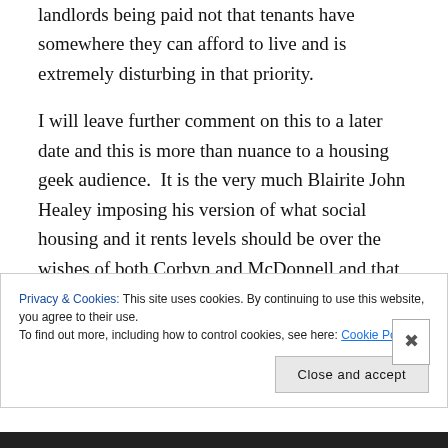landlords being paid not that tenants have somewhere they can afford to live and is extremely disturbing in that priority.
I will leave further comment on this to a later date and this is more than nuance to a housing geek audience.  It is the very much Blairite John Healey imposing his version of what social housing and it rents levels should be over the wishes of both Corbyn and McDonnell and that for all Corbyn supporters seeking equity and fairness is extremely
Privacy & Cookies: This site uses cookies. By continuing to use this website, you agree to their use.
To find out more, including how to control cookies, see here: Cookie Policy